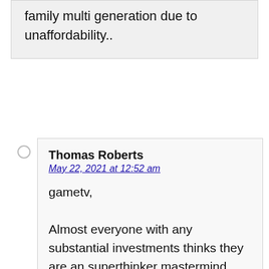family multi generation due to unaffordability..
Thomas Roberts
May 22, 2021 at 12:52 am
gametv,

Almost everyone with any substantial investments thinks they are an superthinker mastermind. Right now, it's possible that everyone is wrong. I could see all investment assets declining. Precious metals could possibly hold their value (though they may temporarily drop). It would be very funny if those just